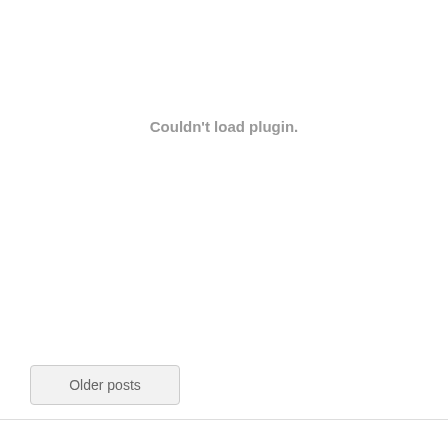Couldn't load plugin.
Older posts